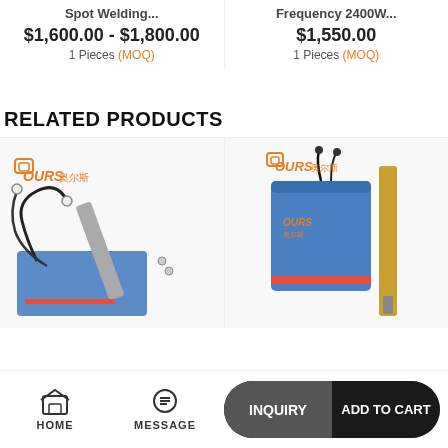Spot Welding...
$1,600.00 - $1,800.00
1 Pieces (MOQ)
Frequency 2400W...
$1,550.00
1 Pieces (MOQ)
RELATED PRODUCTS
[Figure (photo): OURS brand ultrasonic welding product with cables and blue base plate]
[Figure (photo): OURS brand ultrasonic welding product with blue box and metal probe]
HOME | MESSAGE | INQUIRY | ADD TO CART